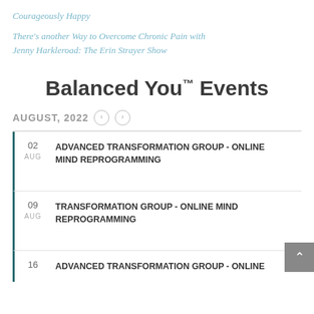Courageously Happy
There’s another Way to Overcome Chronic Pain with Jenny Harkleroad: The Erin Strayer Show
Balanced You™ Events
AUGUST, 2022
02 AUG - ADVANCED TRANSFORMATION GROUP - ONLINE MIND REPROGRAMMING
09 AUG - TRANSFORMATION GROUP - ONLINE MIND REPROGRAMMING
16 - ADVANCED TRANSFORMATION GROUP - ONLINE